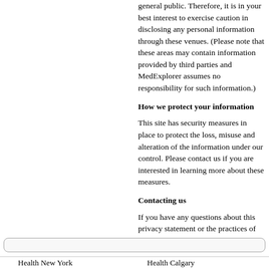general public. Therefore, it is in your best interest to exercise caution in disclosing any personal information through these venues. (Please note that these areas may contain information provided by third parties and MedExplorer assumes no responsibility for such information.)
How we protect your information
This site has security measures in place to protect the loss, misuse and alteration of the information under our control. Please contact us if you are interested in learning more about these measures.
Contacting us
If you have any questions about this privacy statement or the practices of our site, please contact:
MedExplorer Inc.
245 Tuscany Ridge Hts NW
Calgary, Alberta
T3L 3C1
Telephone: (403) 282-2520
medmaster@medexplorer.com
Health New York    Health Calgary